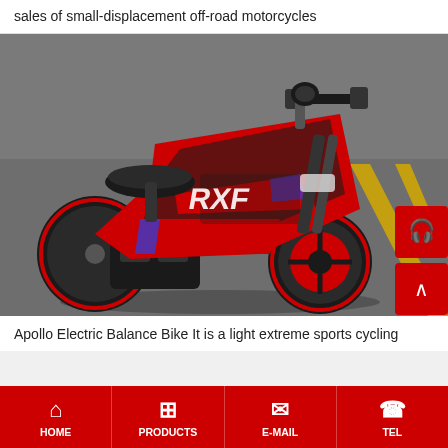sales of small-displacement off-road motorcycles
[Figure (photo): Red and black electric balance bike (RXF brand) parked on a road with yellow lane markings. The bike has thick off-road tires, a black seat, handlebar controls, and a visible electric motor housing.]
Apollo Electric Balance Bike It is a light extreme sports cycling
HOME  PRODUCTS  E-MAIL  TEL